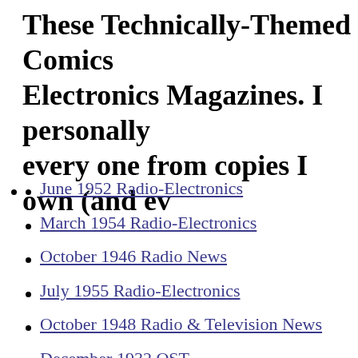These Technically-Themed Comics Electronics Magazines. I personally every one from copies I own (and ev
June 1952 Radio-Electronics
March 1954 Radio-Electronics
October 1946 Radio News
July 1955 Radio-Electronics
October 1948 Radio & Television News
December 1932 QST
March 1952 Radio & Television News